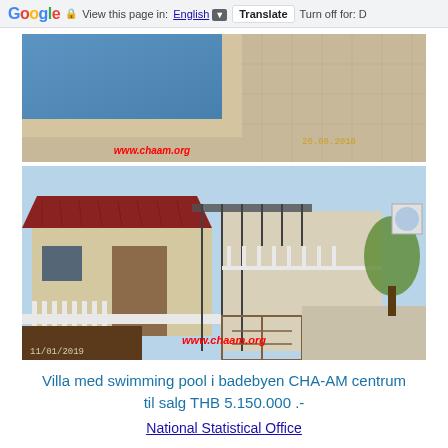Google  View this page in: English [▼]  Translate  Turn off for: D
[Figure (photo): Close-up photo of a swimming pool edge with tiled surround, dated 26.08.2018, watermarked www.chaam.org]
[Figure (photo): Street-level photo of a villa with red tile roof, white fence, metal gate, carport, dated 11/01/2019, watermarked www.chaam.org]
Villa med swimming pool i badebyen CHA-AM centrum til salg THB 5.150.000 .-
National Statistical Office